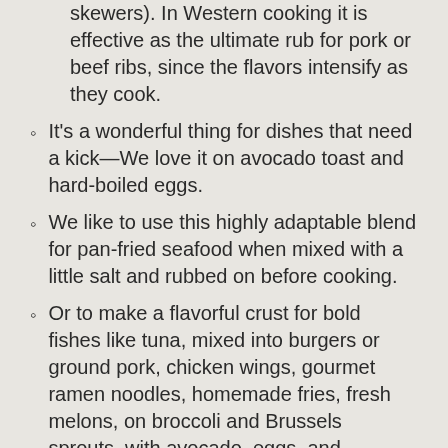skewers). In Western cooking it is effective as the ultimate rub for pork or beef ribs, since the flavors intensify as they cook.
It's a wonderful thing for dishes that need a kick—We love it on avocado toast and hard-boiled eggs.
We like to use this highly adaptable blend for pan-fried seafood when mixed with a little salt and rubbed on before cooking.
Or to make a flavorful crust for bold fishes like tuna, mixed into burgers or ground pork, chicken wings, gourmet ramen noodles, homemade fries, fresh melons, on broccoli and Brussels sprouts, with avocado, eggs, and popcorn.
Adding a pinch to rice brings it to life, and green vegetables like broccoli or kale take on a whole new flavor.